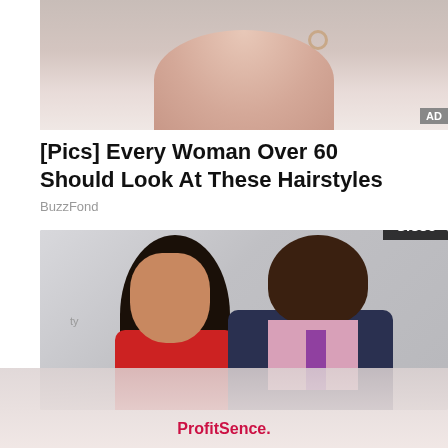[Figure (photo): Cropped close-up photo of a woman's face/chin area with a hoop earring, used as an advertisement image. Gray 'AD' badge in bottom-right corner of image.]
[Pics] Every Woman Over 60 Should Look At These Hairstyles
BuzzFond
[Figure (photo): Photo of a couple at an event: a woman with long dark hair wearing a red dress with bold makeup, and a large bald man in a dark suit with a pink shirt and purple tie. Event signage visible in background reading 'TEIKE PROMO'. A 'Close' button overlay appears at bottom right of the image.]
ProfitSence.